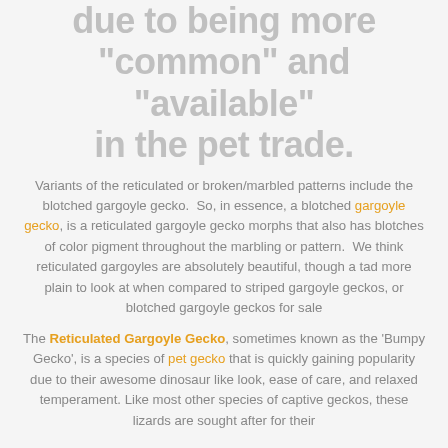due to being more "common" and "available" in the pet trade.
Variants of the reticulated or broken/marbled patterns include the blotched gargoyle gecko.  So, in essence, a blotched gargoyle gecko, is a reticulated gargoyle gecko morphs that also has blotches of color pigment throughout the marbling or pattern.  We think reticulated gargoyles are absolutely beautiful, though a tad more plain to look at when compared to striped gargoyle geckos, or blotched gargoyle geckos for sale
The Reticulated Gargoyle Gecko, sometimes known as the 'Bumpy Gecko', is a species of pet gecko that is quickly gaining popularity due to their awesome dinosaur like look, ease of care, and relaxed temperament. Like most other species of captive geckos, these lizards are sought after for their